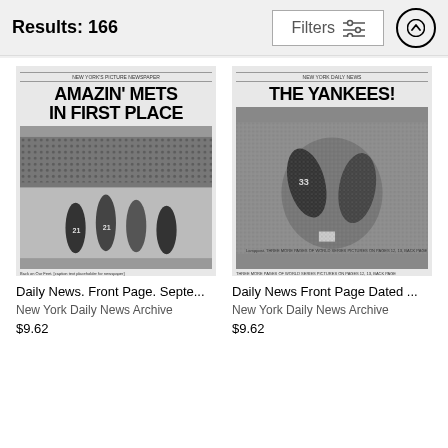Results: 166
[Figure (screenshot): Filters button with sliders icon]
[Figure (photo): Daily News front page: AMAZIN' METS IN FIRST PLACE with baseball photo]
Daily News. Front Page. Septe...
New York Daily News Archive
$9.62
[Figure (photo): Daily News front page: THE YANKEES! with baseball action photo]
Daily News Front Page Dated ...
New York Daily News Archive
$9.62